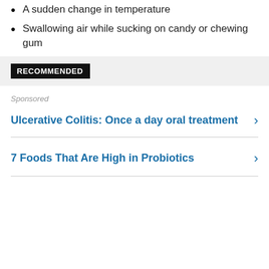A sudden change in temperature
Swallowing air while sucking on candy or chewing gum
RECOMMENDED
Sponsored
Ulcerative Colitis: Once a day oral treatment
7 Foods That Are High in Probiotics